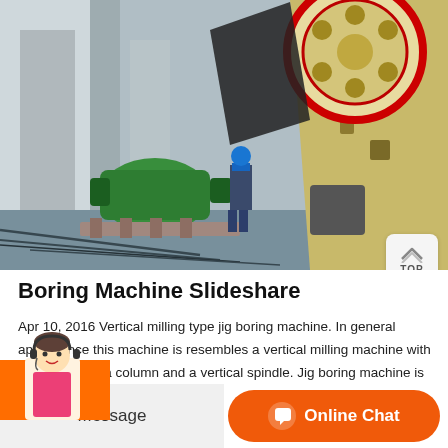[Figure (photo): Industrial jaw crusher machine with a large flywheel, drive belt, and green electric motor. A worker in a hard hat stands in front of the machine at an industrial or mining site.]
Boring Machine Slideshare
Apr 10, 2016 Vertical milling type jig boring machine. In general appearance this machine is resembles a vertical milling machine with a base or bed,a column and a vertical spindle. Jig boring machine is designed to ensure accuracy through built in rigidity use of low thermal expansion and provision to precise means of measuring movements.